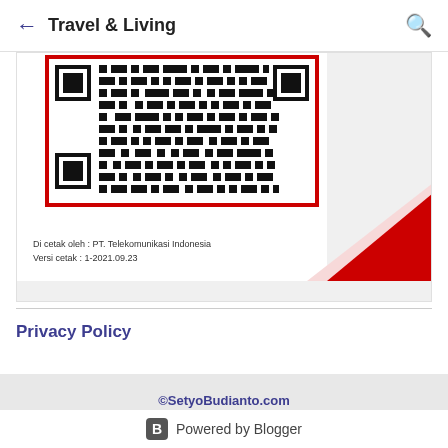← Travel & Living 🔍
[Figure (other): Document with QR code in a red border, decorative grid/QR pattern background, red triangular corner fold, and footer text 'Di cetak oleh : PT. Telekomunikasi Indonesia / Versi cetak : 1-2021.09.23']
Privacy Policy
©SetyoBudianto.com
All Rights Reserved. Reproduction without explicit permission is prohibited.
Powered by Blogger